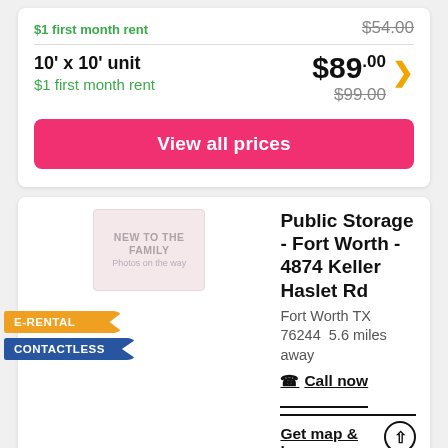$1 first month rent
$54.00
10' x 10' unit
$1 first month rent
$89.00
$99.00
View all prices
Public Storage - Fort Worth - 4874 Keller Haslet Rd
Fort Worth TX 76244  5.6 miles away
Call now
Get map & hours
1 review